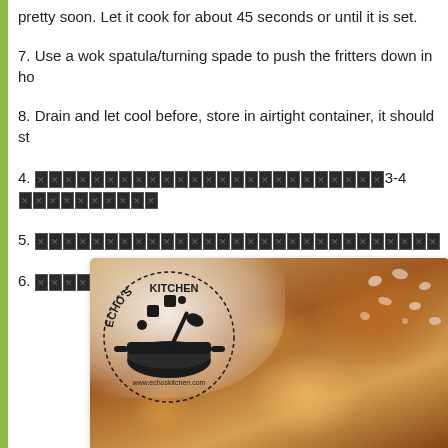pretty soon. Let it cook for about 45 seconds or until it is set.
7. Use a wok spatula/turning spade to push the fritters down in ho...
8. Drain and let cool before, store in airtight container, it should st...
4. [REDACTED] 3-4 [REDACTED]
5. [REDACTED]
6. [REDACTED]
[Figure (photo): Photo of fried fritters on a plate with Echo's Kitchen logo watermark and URL www.echoskitchen.com]